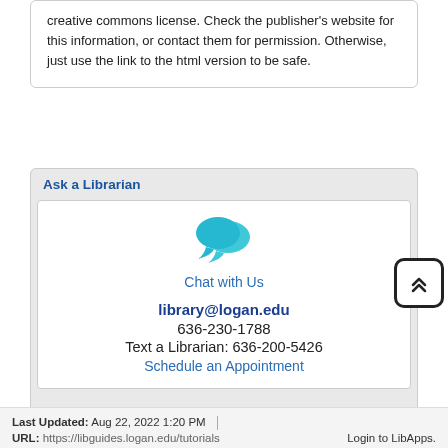creative commons license. Check the publisher's website for this information, or contact them for permission. Otherwise, just use the link to the html version to be safe.
Ask a Librarian
[Figure (illustration): Two overlapping cyan speech bubble icons representing a chat feature]
Chat with Us
library@logan.edu
636-230-1788
Text a Librarian: 636-200-5426
Schedule an Appointment
Last Updated: Aug 22, 2022 1:20 PM | URL: https://libguides.logan.edu/tutorials Login to LibApps.